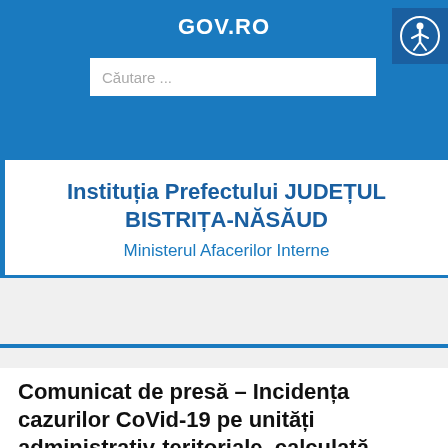GOV.RO
Instituția Prefectului JUDEȚUL BISTRIȚA-NĂSĂUD
Ministerul Afacerilor Interne
Comunicat de presă – Incidența cazurilor CoVid-19 pe unități administrativ-teritoriale, calculată